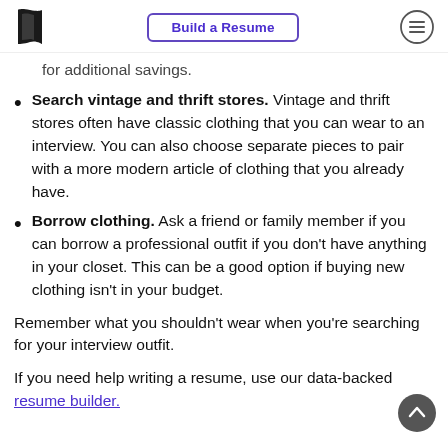Build a Resume
for additional savings.
Search vintage and thrift stores. Vintage and thrift stores often have classic clothing that you can wear to an interview. You can also choose separate pieces to pair with a more modern article of clothing that you already have.
Borrow clothing. Ask a friend or family member if you can borrow a professional outfit if you don't have anything in your closet. This can be a good option if buying new clothing isn't in your budget.
Remember what you shouldn't wear when you're searching for your interview outfit.
If you need help writing a resume, use our data-backed resume builder.